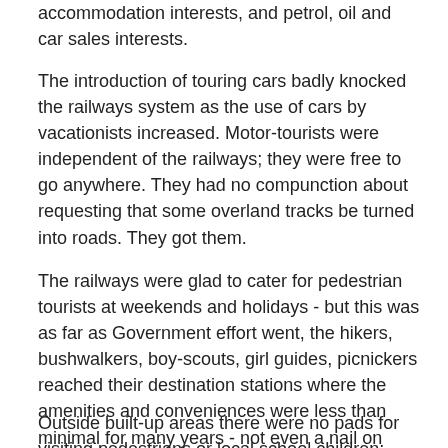accommodation interests, and petrol, oil and car sales interests.
The introduction of touring cars badly knocked the railways system as the use of cars by vacationists increased. Motor-tourists were independent of the railways; they were free to go anywhere. They had no compunction about requesting that some overland tracks be turned into roads. They got them.
The railways were glad to cater for pedestrian tourists at weekends and holidays - but this was as far as Government effort went, the hikers, bushwalkers, boy-scouts, girl guides, picnickers reached their destination stations where the amenities and conveniences were less than minimal for many years - not even a nail on which to hang clothes when changing prior to boarding a return train.
Outside built-up areas there were no pads for visiting pedestrians or local school children; they had to walk, on